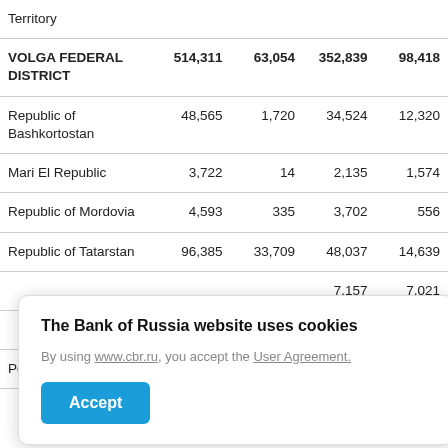| Territory |  |  |  |  |
| --- | --- | --- | --- | --- |
| Territory |  |  |  |  |
| VOLGA FEDERAL DISTRICT | 514,311 | 63,054 | 352,839 | 98,418 |
| Republic of Bashkortostan | 48,565 | 1,720 | 34,524 | 12,320 |
| Mari El Republic | 3,722 | 14 | 2,135 | 1,574 |
| Republic of Mordovia | 4,593 | 335 | 3,702 | 556 |
| Republic of Tatarstan | 96,385 | 33,709 | 48,037 | 14,639 |
|  | …,157 |  |  | 7,021 |
|  | …,254 |  |  | 6,163 |
| Perm Territory | 58,020 | 2,100 | 44,610 | 11,280 |
The Bank of Russia website uses cookies. By using www.cbr.ru, you accept the User Agreement.